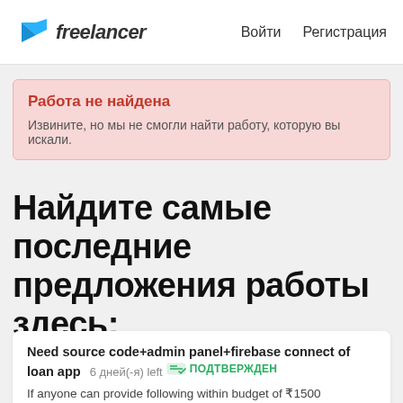freelancer  Войти  Регистрация
Работа не найдена
Извините, но мы не смогли найти работу, которую вы искали.
Найдите самые последние предложения работы здесь:
Need source code+admin panel+firebase connect of loan app  6 дней(-я) left  ПОДТВЕРЖДЕН
If anyone can provide following within budget of ₹1500